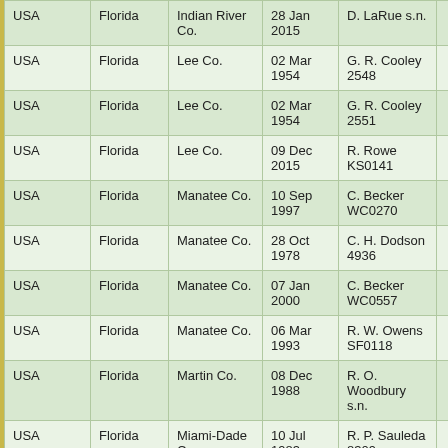| USA | Florida | Indian River Co. | 28 Jan 2015 | D. LaRue s.n. |  |
| USA | Florida | Lee Co. | 02 Mar 1954 | G. R. Cooley 2548 |  |
| USA | Florida | Lee Co. | 02 Mar 1954 | G. R. Cooley 2551 |  |
| USA | Florida | Lee Co. | 09 Dec 2015 | R. Rowe KS0141 |  |
| USA | Florida | Manatee Co. | 10 Sep 1997 | C. Becker WC0270 |  |
| USA | Florida | Manatee Co. | 28 Oct 1978 | C. H. Dodson 4936 |  |
| USA | Florida | Manatee Co. | 07 Jan 2000 | C. Becker WC0557 |  |
| USA | Florida | Manatee Co. | 06 Mar 1993 | R. W. Owens SF0118 |  |
| USA | Florida | Martin Co. | 08 Dec 1988 | R. O. Woodbury s.n. |  |
| USA | Florida | Miami-Dade Co. | 10 Jul 1983 | R. P. Sauleda 8309 |  |